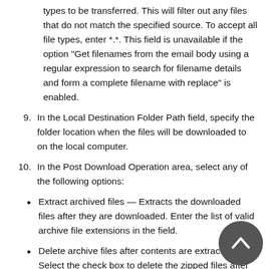types to be transferred. This will filter out any files that do not match the specified source. To accept all file types, enter *.*. This field is unavailable if the option “Get filenames from the email body using a regular expression to search for filename details and form a complete filename with replace” is enabled.
9. In the Local Destination Folder Path field, specify the folder location when the files will be downloaded to on the local computer.
10. In the Post Download Operation area, select any of the following options:
Extract archived files — Extracts the downloaded files after they are downloaded. Enter the list of valid archive file extensions in the field.
Delete archive files after contents are extracted — Select the check box to delete the zipped files after the contents have been extracted.
Rename source files — Renames the source files